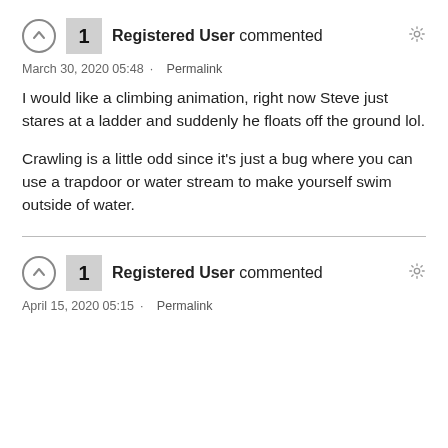Registered User commented
March 30, 2020 05:48 · Permalink
I would like a climbing animation, right now Steve just stares at a ladder and suddenly he floats off the ground lol.

Crawling is a little odd since it's just a bug where you can use a trapdoor or water stream to make yourself swim outside of water.
Registered User commented
April 15, 2020 05:15 · Permalink